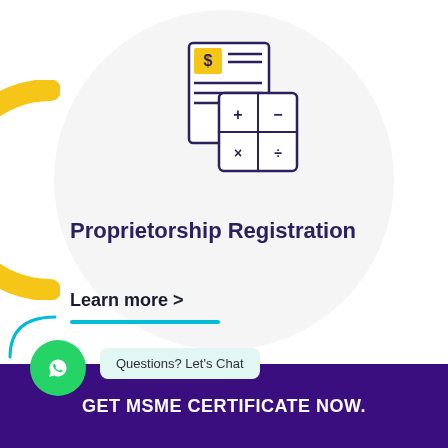[Figure (illustration): Icon showing financial documents: a dollar bill/invoice and a calculator with plus, minus, multiply, divide symbols, drawn in dark purple outline style with yellow accent on the dollar document.]
Proprietorship Registration
Learn more  >
[Figure (other): WhatsApp chat button (green circle with phone icon) and chat bubble saying 'Questions? Let's Chat']
Questions? Let's Chat
GET MSME CERTIFICATE NOW.